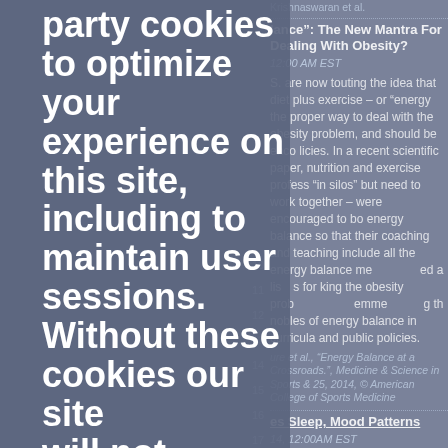party cookies to optimize your experience on this site, including to maintain user sessions. Without these cookies our site will not function well. If you continue browsing our site we take that to mean that you understand and accept how we use the cookies. If you wish to decline our cookies we will redirect you to Google.
Krishnaswaran et al.
lance": The New Mantra For Dealing With Obesity?
12:00 AM EST
S. are now touting the idea that diet plus exercise – or "energy the proper way to deal with the obesity problem, and should be enco licies. In a recent scientific paper, nutrition and exercise profess "in silos" but need to work together – were encouraged to bo energy balance so that their coaching and teaching include all the energy balance me ed a lis s for king the obesity prob emme g th nobles of energy balance in curricula and public policies.
ure et al., "Energy Balance at a Crossroads.", Medicine & Science in Sports & 25, 2014, © American College of Sports Medicine
es Sleep, Mood Patterns
14, 12:00AM EST
cal study involving 400 men and women confirms that being contributes to poor sleep, and losing weight reverses the situ study showed that when obese adults lose even a small percentage of their b weight they show significant improvement in their sleep. People who shed five pe the pounds by month six of the study reported that they gained an average of 21 minutes of sleep a night, compared with only 1.2 minutes for those who lost less
ACCEPT
Reject